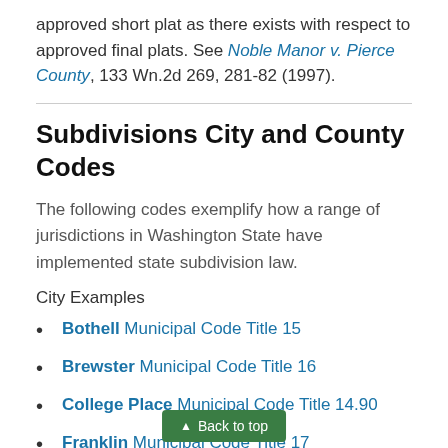approved short plat as there exists with respect to approved final plats. See Noble Manor v. Pierce County, 133 Wn.2d 269, 281-82 (1997).
Subdivisions City and County Codes
The following codes exemplify how a range of jurisdictions in Washington State have implemented state subdivision law.
City Examples
Bothell Municipal Code Title 15
Brewster Municipal Code Title 16
College Place Municipal Code Title 14.90
Franklin Municipal Code Title 17